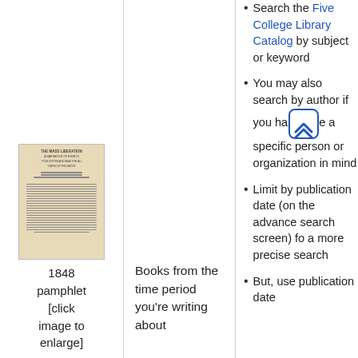[Figure (photo): Scan of an 1848 pamphlet with aged/yellowed paper, showing title text and body text lines]
1848 pamphlet [click image to enlarge]
Books from the time period you're writing about
Search the Five College Library Catalog by subject or keyword
You may also search by author if you have a specific person or organization in mind
Limit by publication date (on the advanced search screen) for a more precise search
But, use publication date